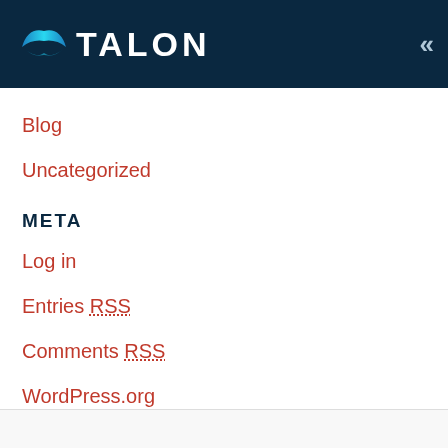TALON
Blog
Uncategorized
META
Log in
Entries RSS
Comments RSS
WordPress.org